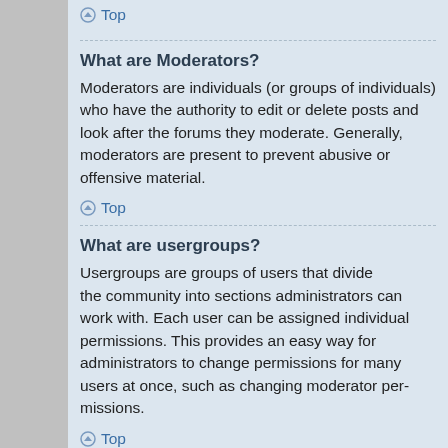Top
What are Moderators?
Moderators are individuals (or groups of individuals) who have the authority to edit or delete posts and look after the forums they moderate. Generally, moderators are present to prevent abusive or offensive material.
Top
What are usergroups?
Usergroups are groups of users that divide the community into manageable sections administrators can work with. Each user can belong to several groups and each group can be set individual permissions. This provides an easy way for administrators to change permissions for many users at once, such as changing moderator permissions or granting users access to a private forum.
Top
Where are the usergroups and how do I join one?
You can view all usergroups via the "Usergroups" link within your User Control Panel. If you would like to join one, proceed by clicking the appropriate button.